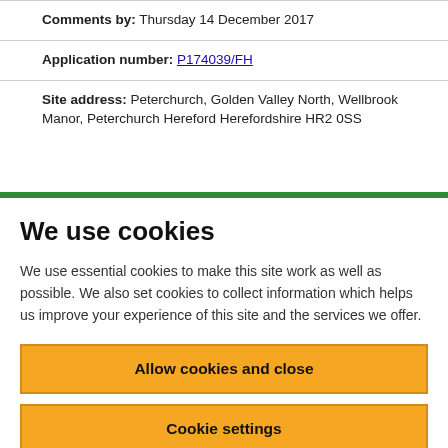Comments by: Thursday 14 December 2017
Application number: P174039/FH
Site address: Peterchurch, Golden Valley North, Wellbrook Manor, Peterchurch Hereford Herefordshire HR2 0SS
We use cookies
We use essential cookies to make this site work as well as possible. We also set cookies to collect information which helps us improve your experience of this site and the services we offer.
Allow cookies and close
Cookie settings